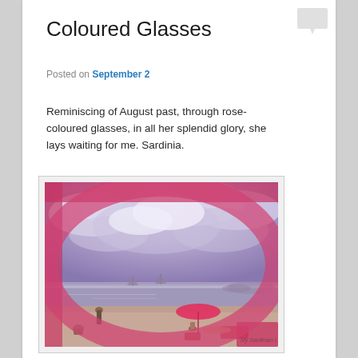Coloured Glasses
Posted on September 2
Reminiscing of August past, through rose-coloured glasses, in all her splendid glory, she lays waiting for me. Sardinia.
[Figure (photo): View through rose-coloured/pink sunglasses lens of a beach scene in Sardinia. Purple-tinted sky with clouds, calm sea with sailboats in the distance, people on the beach with a pink umbrella.]